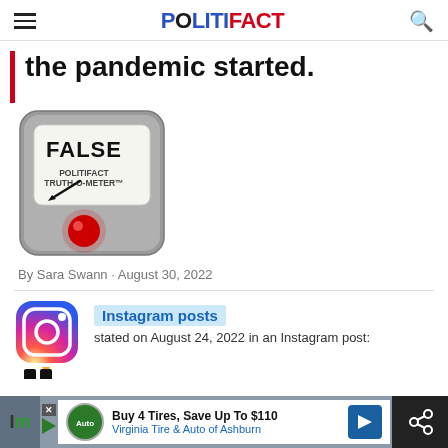POLITIFACT
the pandemic started.
[Figure (illustration): PolitiFact Truth-O-Meter gauge showing FALSE rating with red indicator light]
By Sara Swann · August 30, 2022
[Figure (logo): Instagram logo icon]
Instagram posts stated on August 24, 2022 in an Instagram post:
Buy 4 Tires, Save Up To $110 Virginia Tire & Auto of Ashburn